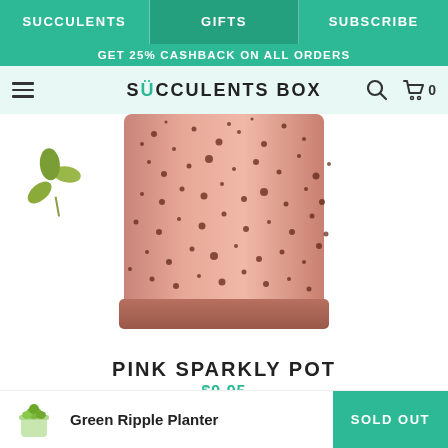SUCCULENTS | GIFTS | SUBSCRIBE
GET 25% CASHBACK ON ALL ORDERS
SUCCULENTS BOX
[Figure (photo): Close-up photograph of a pink sparkly/speckled ceramic pot with a succulent plant leaf on the left side. The pot is rose gold/copper colored with dark brown speckle pattern throughout.]
PINK SPARKLY POT
$9.95
[Figure (photo): Small green ripple planter pot with a green succulent inside, shown as a product thumbnail in the bottom bar.]
Green Ripple Planter
SOLD OUT